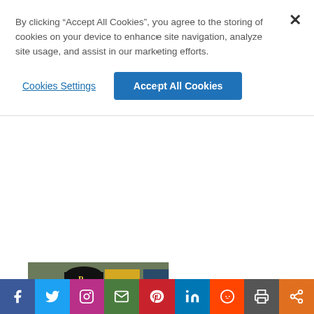By clicking “Accept All Cookies”, you agree to the storing of cookies on your device to enhance site navigation, analyze site usage, and assist in our marketing efforts.
Cookies Settings
Accept All Cookies
[Figure (photo): Pittsburgh Pirates pitcher in white uniform and black cap with P logo, mid-pitch delivery, with yellow scoreboard in background]
When Michael Chavis homered off Max Fried in the second inning, it gave the
Social share bar: Facebook, Twitter, Instagram, Email, Pinterest, LinkedIn, Reddit, Print, Share